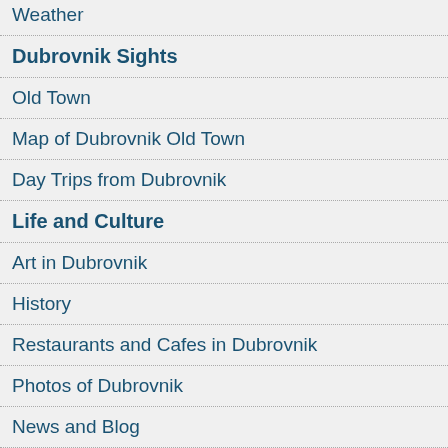Weather
Dubrovnik Sights
Old Town
Map of Dubrovnik Old Town
Day Trips from Dubrovnik
Life and Culture
Art in Dubrovnik
History
Restaurants and Cafes in Dubrovnik
Photos of Dubrovnik
News and Blog
Accommodations
More info
Privacy Policy